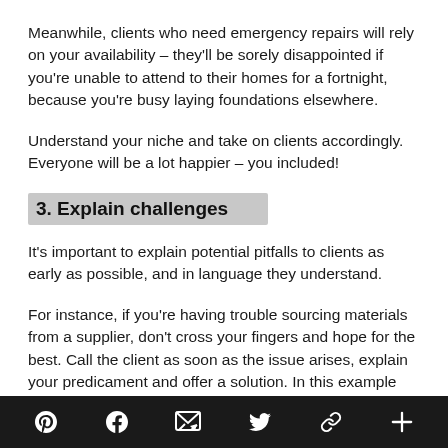Meanwhile, clients who need emergency repairs will rely on your availability – they'll be sorely disappointed if you're unable to attend to their homes for a fortnight, because you're busy laying foundations elsewhere.
Understand your niche and take on clients accordingly. Everyone will be a lot happier – you included!
3. Explain challenges
It's important to explain potential pitfalls to clients as early as possible, and in language they understand.
For instance, if you're having trouble sourcing materials from a supplier, don't cross your fingers and hope for the best. Call the client as soon as the issue arises, explain your predicament and offer a solution. In this example
Pinterest Facebook Email Twitter Link +